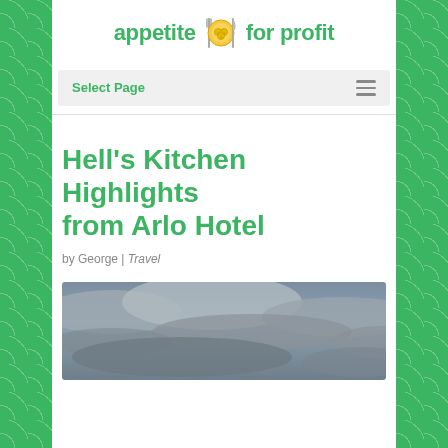[Figure (logo): appetite for profit logo with fork, plate with coins, and knife icon]
Select Page
Hell's Kitchen Highlights from Arlo Hotel
by George | Travel
[Figure (photo): Cloudy sky photograph, dark grey clouds]